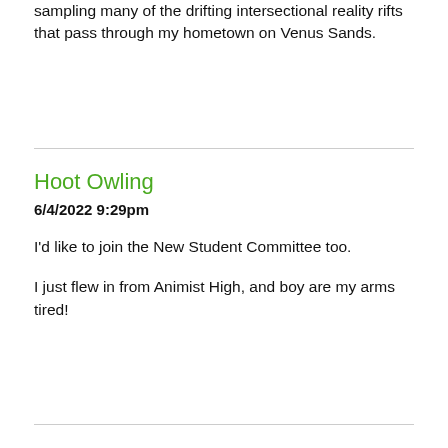sampling many of the drifting intersectional reality rifts that pass through my hometown on Venus Sands.
Hoot Owling
6/4/2022 9:29pm

I'd like to join the New Student Committee too.

I just flew in from Animist High, and boy are my arms tired!